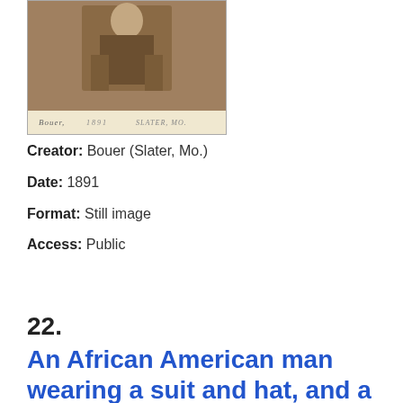[Figure (photo): A sepia-toned vintage photograph (cabinet card) showing a figure in period dress, with a printed caption strip at the bottom reading cursive text and 'SLATER, MO.']
Creator: Bouer (Slater, Mo.)
Date: 1891
Format: Still image
Access: Public
22.
An African American man wearing a suit and hat, and a woman wearing a dress and hat, standing